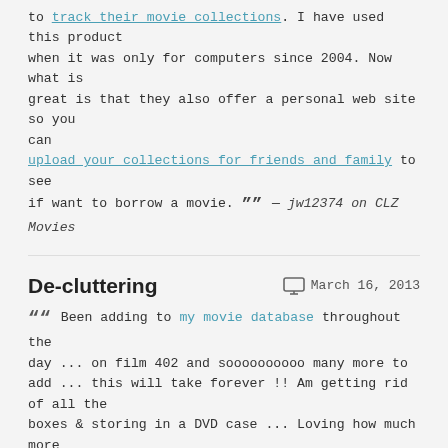to track their movie collections. I have used this product when it was only for computers since 2004. Now what is great is that they also offer a personal web site so you can upload your collections for friends and family to see if want to borrow a movie. ”” — jw12374 on CLZ Movies
De-cluttering    March 16, 2013
““ Been adding to my movie database throughout the day ... on film 402 and soooooooooo many more to add ... this will take forever !! Am getting rid of all the boxes & storing in a DVD case ... Loving how much more space I have though ...
Am enjoying this de-cluttering :-) ”” — Mandy Inglis (United Kingdom) on Movie Collector
Happily    March 12, 2013
““ I am happily enjoying the program.
I want to complement you on your quick service and all of the very helpful emails you send about the program.
”” — Greg Schasienen (USA) on Movie Collector